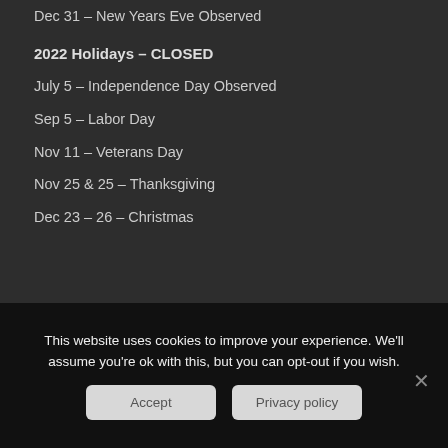Dec 31 – New Years Eve Observed
2022 Holidays – CLOSED
July 5 – Independence Day Observed
Sep 5 – Labor Day
Nov 11 – Veterans Day
Nov 25 & 25 – Thanksgiving
Dec 23 – 26 – Christmas
[Figure (logo): USA Veteran Owned Business logo with American flag design featuring a blue field with white star and red/white stripes]
This website uses cookies to improve your experience. We'll assume you're ok with this, but you can opt-out if you wish.
Accept   Privacy policy